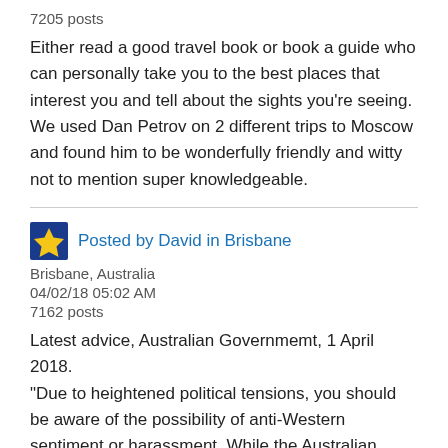7205 posts
Either read a good travel book or book a guide who can personally take you to the best places that interest you and tell about the sights you're seeing. We used Dan Petrov on 2 different trips to Moscow and found him to be wonderfully friendly and witty not to mention super knowledgeable.
Posted by David in Brisbane
Brisbane, Australia
04/02/18 05:02 AM
7162 posts
Latest advice, Australian Governmemt, 1 April 2018.
“Due to heightened political tensions, you should be aware of the possibility of anti-Western sentiment or harassment. While the Australian Government is not aware of any increased difficulties for Australians travelling in Russia at this time, you should follow the security and political situation closely and keep up to date with this travel advice. Remain vigilant, avoid any protests or